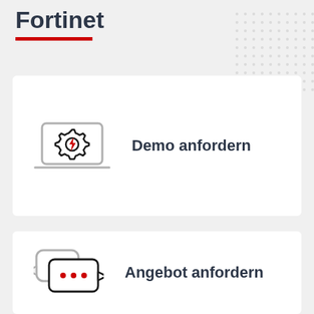Fortinet
[Figure (illustration): Dot grid pattern decorative element in top right]
[Figure (illustration): Laptop with gear and lightning bolt icon for Demo anfordern card]
Demo anfordern
[Figure (illustration): Chat bubbles with ellipsis icon for Angebot anfordern card]
Angebot anfordern